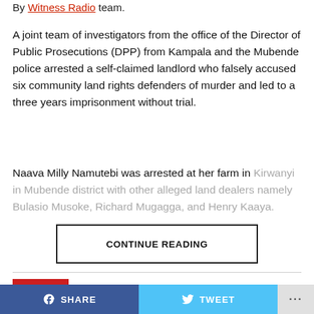By Witness Radio team.
A joint team of investigators from the office of the Director of Public Prosecutions (DPP) from Kampala and the Mubende police arrested a self-claimed landlord who falsely accused six community land rights defenders of murder and led to a three years imprisonment without trial.
Naava Milly Namutebi was arrested at her farm in Kirwanyi in Mubende district with other alleged land dealers namely Bulasio Musoke, Richard Mugagga, and Henry Kaaya.
CONTINUE READING
LATEST   POPULAR   VIDEOS
SHARE   TWEET   ...